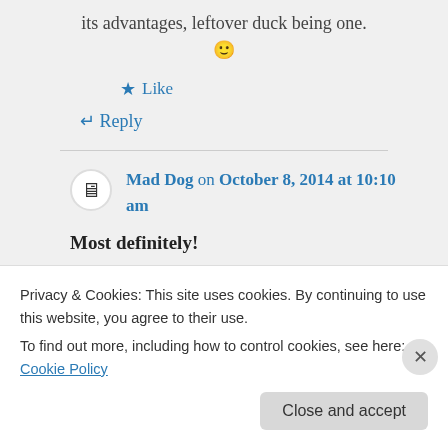its advantages, leftover duck being one. 🙂
★ Like
↵ Reply
Mad Dog on October 8, 2014 at 10:10 am
Most definitely!
Privacy & Cookies: This site uses cookies. By continuing to use this website, you agree to their use.
To find out more, including how to control cookies, see here: Cookie Policy
Close and accept